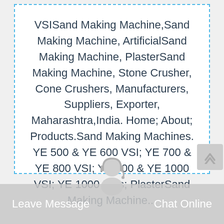VSISand Making Machine,Sand Making Machine, ArtificialSand Making Machine, PlasterSand Making Machine, Stone Crusher, Cone Crushers, Manufacturers, Suppliers, Exporter, Maharashtra,India. Home; About; Products.Sand Making Machines. YE 500 & YE 600 VSI; YE 700 & YE 800 VSI; YE 900 & YE 1000 VSI; YE 1000 Plus; PlasterSand Making Machine...
[Figure (other): Get price button - blue rectangular button with white text]
[Figure (other): Customer service chat icon - person with headset]
Leave Message   Chat Online